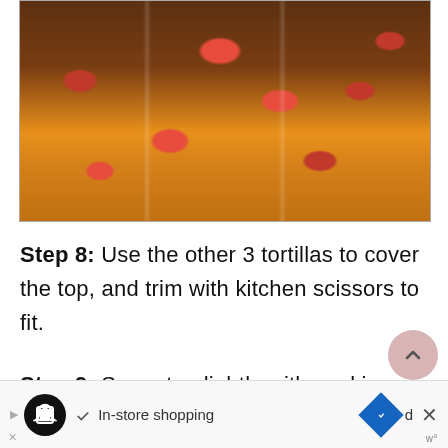[Figure (photo): Top-down view of a baking sheet with tortillas topped with seasoned ground meat and chopped red peppers/tomatoes, arranged in a pan ready for baking.]
Step 8: Use the other 3 tortillas to cover the top, and trim with kitchen scissors to fit.
Step 9: Spray top lightly with cooking
[Figure (infographic): Advertisement bar: In-store shopping ad with map/navigation icon and close button.]